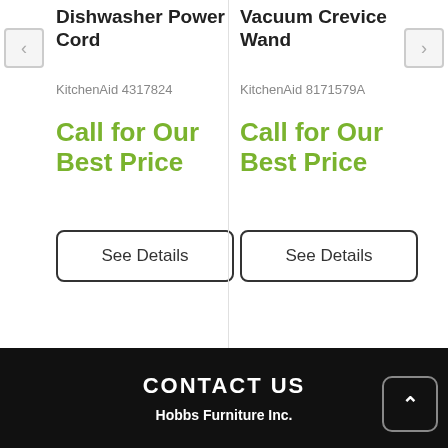Dishwasher Power Cord
KitchenAid 4317824
Call for Our Best Price
See Details
Vacuum Crevice Wand
KitchenAid 8171579A
Call for Our Best Price
See Details
CONTACT US
Hobbs Furniture Inc.